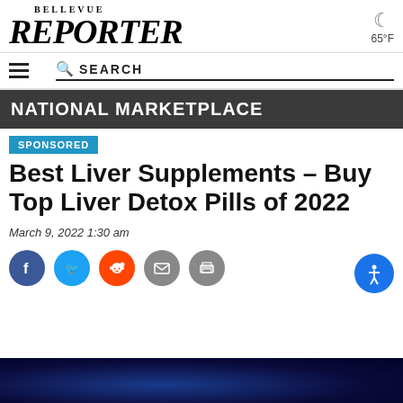BELLEVUE REPORTER
65°F
SEARCH
NATIONAL MARKETPLACE
SPONSORED
Best Liver Supplements – Buy Top Liver Detox Pills of 2022
March 9, 2022 1:30 am
[Figure (infographic): Social share buttons: Facebook, Twitter, Reddit, Email, Print]